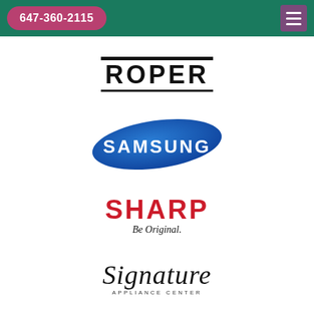647-360-2115
[Figure (logo): Roper brand logo in bold black text with horizontal bars above and below]
[Figure (logo): Samsung logo in white text on blue ellipse]
[Figure (logo): Sharp logo in bold red text with tagline 'Be Original.']
[Figure (logo): Signature Appliance Center logo in cursive script with small caps subtitle]